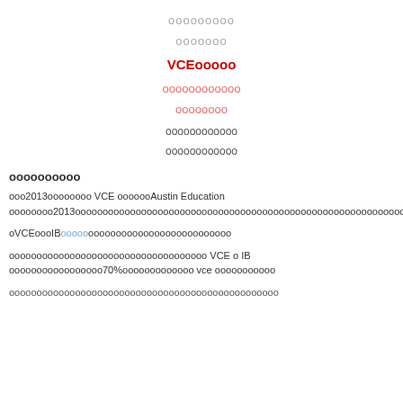ооооооооо
ооооооо
VCEооооо
оооооооооооо
оооооооо
оооооооооооо
оооооооооооо
оооооооооо
ооо2013оооооооо VCE ооооооAustin Education оооооооо2013ооооооооооооооооооооооооооооооооооооооооооооооооооооооооооооооо
оVCEооIBооооооооооооооооооооооооооо
оооооооооооооооооооооооооооооооооооо VCE о IB ооооооооооооооооо70%ооооооооо vce ооооооооооо